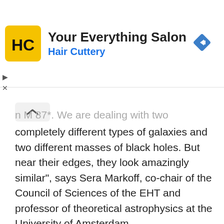[Figure (logo): Hair Cuttery advertisement banner with HC logo in yellow rounded square, title 'Your Everything Salon', subtitle 'Hair Cuttery' in blue, and blue navigation diamond icon on the right]
n M 87*. We are dealing with two completely different types of galaxies and two different masses of black holes. But near their edges, they look amazingly similar", says Sera Markoff, co-chair of the Council of Sciences of the EHT and professor of theoretical astrophysics at the University of Amsterdam.
This time, the evaluation of the data was much more difficult than with the galaxy M 87, 55 million light years away – even though the centre of the Milky Way is much closer (27,000 light years). The gas swirls around